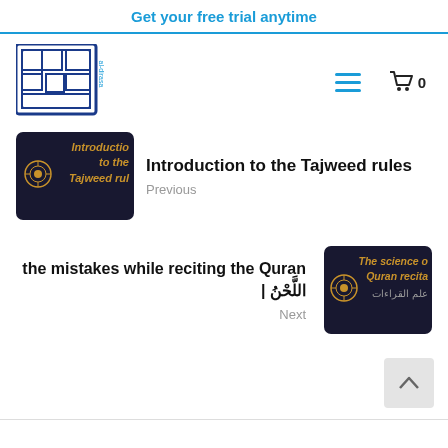Get your free trial anytime
[Figure (logo): Al-Dirasa logo — blue geometric Arabic calligraphy with 'al-dirasa' text]
Introduction to the Tajweed rules
Previous
[Figure (photo): Dark blue thumbnail with gold text: Introduction to the Tajweed rules, and ornamental flower motif]
the mistakes while reciting the Quran | اللَّحْنُ
Next
[Figure (photo): Dark blue thumbnail with gold text: The science of Quran recita... and Arabic text علم القراءات]